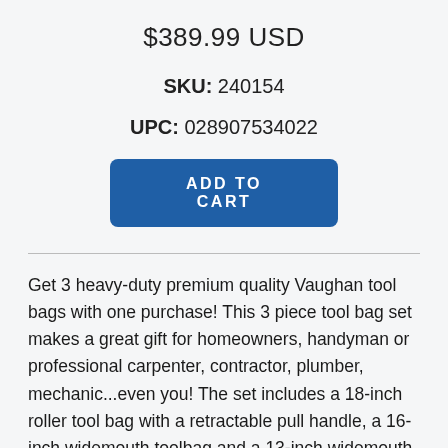$389.99 USD
SKU: 240154
UPC: 028907534022
ADD TO CART
Get 3 heavy-duty premium quality Vaughan tool bags with one purchase! This 3 piece tool bag set makes a great gift for homeowners, handyman or professional carpenter, contractor, plumber, mechanic...even you! The set includes a 18-inch roller tool bag with a retractable pull handle, a 16-inch widemouth toolbag and a 13-inch widemouth tool bag. All 3 bags offer durable design and loads of storage